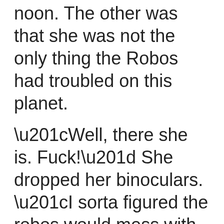noon.  The other was that she was not the only thing the Robos had troubled on this planet.
“Well, there she is. Fuck!” She dropped her binoculars. “I sorta figured the robos would mess with the old girl, but this…”
“Is not entirely space-worthy,” Pez finished for her.  The ship was still a good way off but it was obviously partially disassembled.